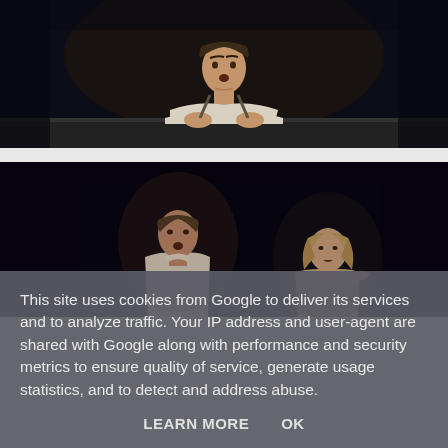[Figure (photo): A person in a light-colored outfit leaning with arms crossed on a dark ledge or table surface, photographed against a dark background. Theater or performance setting.]
[Figure (photo): Two performers on a dark stage. A man in a white shirt on the left and a woman with light hair on the right, both looking upward. Theater performance setting.]
This site uses cookies from Google to deliver its services and to analyze traffic. Your IP address and user-agent are shared with Google along with performance and security metrics to ensure quality of service, generate usage statistics, and to detect and address abuse.
LEARN MORE   OK